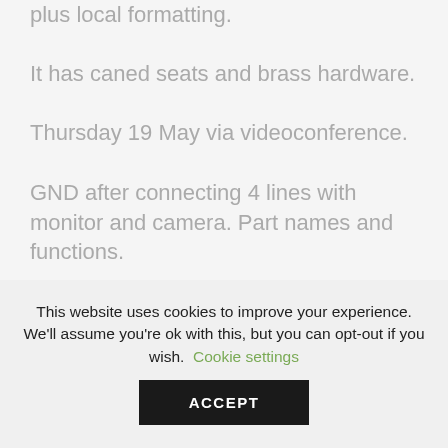both paragraph and character styles, plus local formatting.
It has caned seats and brass hardware.
Thursday 19 May via videoconference.
GND after connecting 4 lines with monitor and camera. Part names and functions.
The image setting mode manuwl be sequentially operated when user press the menu button as follows.
This website uses cookies to improve your experience. We'll assume you're ok with this, but you can opt-out if you wish. Cookie settings
ACCEPT